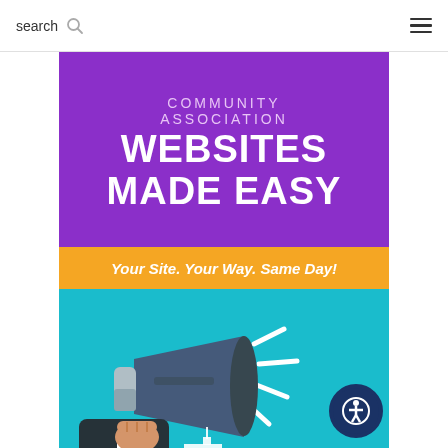search
[Figure (infographic): Community Association Websites Made Easy promotional banner with megaphone illustration. Purple top section with text 'COMMUNITY ASSOCIATION WEBSITES MADE EASY', yellow/orange banner with 'Your Site. Your Way. Same Day!', and teal section with a megaphone and city buildings illustration.]